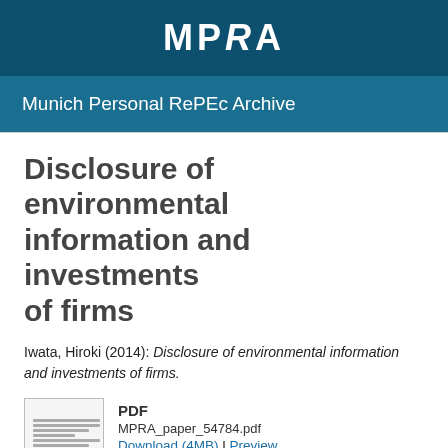MPRA
Munich Personal RePEc Archive
Disclosure of environmental information and investments of firms
Iwata, Hiroki (2014): Disclosure of environmental information and investments of firms.
[Figure (other): Thumbnail image of the PDF document cover page]
PDF
MPRA_paper_54784.pdf
Download (4MB) | Preview